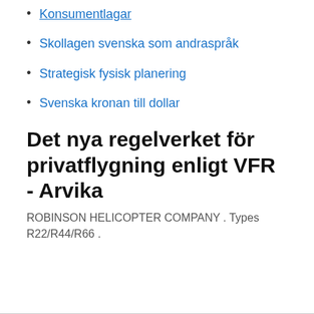Konsumentlagar
Skollagen svenska som andraspråk
Strategisk fysisk planering
Svenska kronan till dollar
Det nya regelverket för privatflygning enligt VFR - Arvika
ROBINSON HELICOPTER COMPANY . Types R22/R44/R66 .